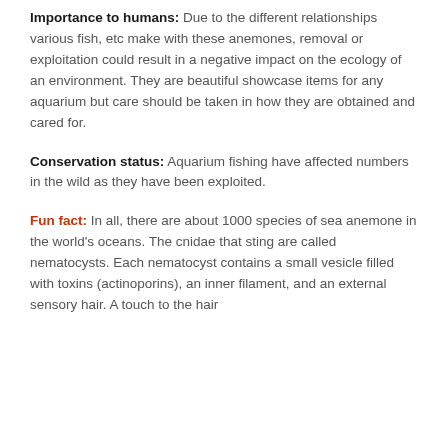Importance to humans: Due to the different relationships various fish, etc make with these anemones, removal or exploitation could result in a negative impact on the ecology of an environment. They are beautiful showcase items for any aquarium but care should be taken in how they are obtained and cared for.
Conservation status: Aquarium fishing have affected numbers in the wild as they have been exploited.
Fun fact: In all, there are about 1000 species of sea anemone in the world's oceans. The cnidae that sting are called nematocysts. Each nematocyst contains a small vesicle filled with toxins (actinoporins), an inner filament, and an external sensory hair. A touch to the hair